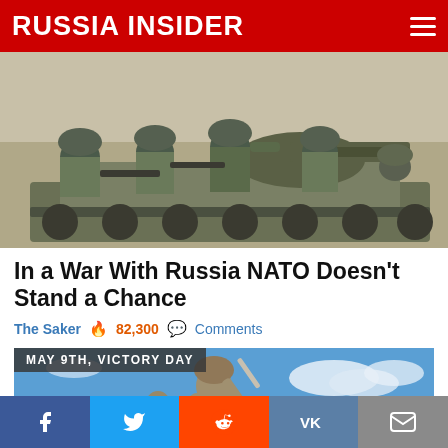RUSSIA INSIDER
[Figure (photo): Soldiers in camouflage uniforms with helmets and weapons riding on a military vehicle/tank]
In a War With Russia NATO Doesn't Stand a Chance
The Saker  82,300  Comments
MAY 9TH, VICTORY DAY
[Figure (photo): Soviet war memorial statue of a soldier with sword raised against a blue sky background]